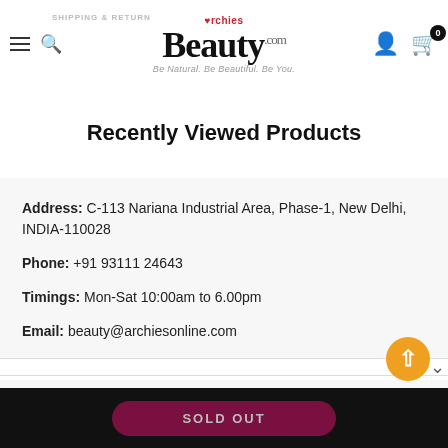Archies Beauty.com — Be Natural. Be Beautiful. Be You.
Recently Viewed Products
Address: C-113 Nariana Industrial Area, Phase-1, New Delhi, INDIA-110028
Phone: +91 93111 24643
Timings: Mon-Sat 10:00am to 6.00pm
Email: beauty@archiesonline.com
INFORMATION
SOLD OUT